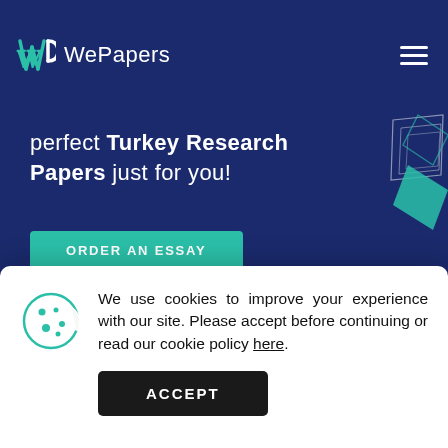WePapers
perfect Turkey Research Papers just for you!
ORDER AN ESSAY
We use cookies to improve your experience with our site. Please accept before continuing or read our cookie policy here.
ACCEPT
International Diversity and the Global Economy